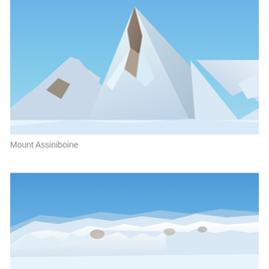[Figure (photo): Photograph of Mount Assiniboine, a snow-covered pyramidal mountain peak under a clear blue sky, with rocky ridges and snow slopes visible.]
Mount Assiniboine
[Figure (photo): Photograph of a snow-covered mountain range under a clear blue sky, showing a panoramic view of snowy peaks and ridges.]